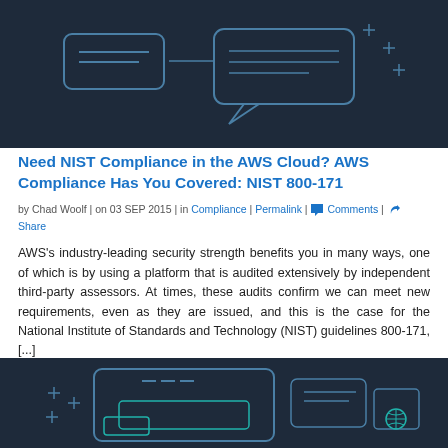[Figure (illustration): Dark navy blue banner with line-art style speech bubbles, chat icons, and decorative plus/cross symbols in light blue/teal on dark background]
Need NIST Compliance in the AWS Cloud? AWS Compliance Has You Covered: NIST 800-171
by Chad Woolf | on 03 SEP 2015 | in Compliance | Permalink | Comments | Share
AWS's industry-leading security strength benefits you in many ways, one of which is by using a platform that is audited extensively by independent third-party assessors. At times, these audits confirm we can meet new requirements, even as they are issued, and this is the case for the National Institute of Standards and Technology (NIST) guidelines 800-171, [...]
Read More
[Figure (illustration): Dark navy blue banner with line-art style device/screen icons, chat bubbles, and decorative plus/cross symbols in light blue/teal on dark background]